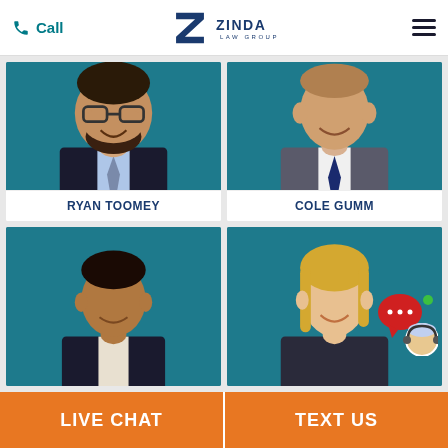Call | Zinda Law Group | (menu)
[Figure (photo): Headshot of Ryan Toomey, a man with glasses and a beard wearing a dark suit and blue tie, against a teal background]
RYAN TOOMEY
[Figure (photo): Headshot of Cole Gumm, a man in a grey suit with navy tie against a teal background]
COLE GUMM
[Figure (photo): Headshot of a man in a dark suit against a teal background]
[Figure (photo): Headshot of a blonde woman against a teal background with a live chat popup overlay showing a customer service representative]
LIVE CHAT | TEXT US